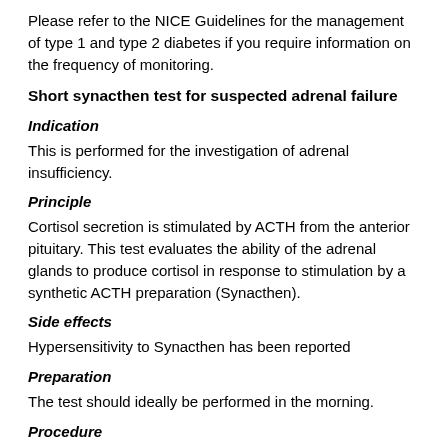Please refer to the NICE Guidelines for the management of type 1 and type 2 diabetes if you require information on the frequency of monitoring.
Short synacthen test for suspected adrenal failure
Indication
This is performed for the investigation of adrenal insufficiency.
Principle
Cortisol secretion is stimulated by ACTH from the anterior pituitary. This test evaluates the ability of the adrenal glands to produce cortisol in response to stimulation by a synthetic ACTH preparation (Synacthen).
Side effects
Hypersensitivity to Synacthen has been reported
Preparation
The test should ideally be performed in the morning.
Procedure
Take a basal serum blood sample for measurement of cortisol (gold-topped tube). Inject Synacthen 250 μg iv or im (children 36 μg/kg body weight). Take blood for cortisol after 30 and 60...